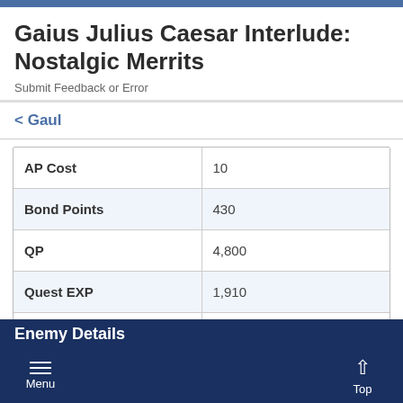Gaius Julius Caesar Interlude: Nostalgic Merrits
Submit Feedback or Error
< Gaul
|  |  |
| --- | --- |
| AP Cost | 10 |
| Bond Points | 430 |
| QP | 4,800 |
| Quest EXP | 1,910 |
| Quest Type | Interlude |
Enemy Details
Menu    Top